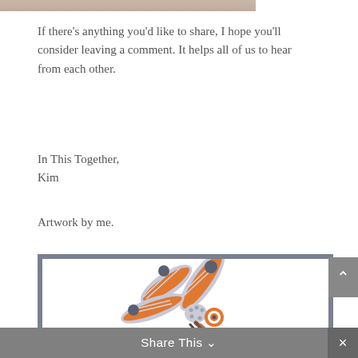[Figure (photo): Top cropped image strip showing a brownish/tan colored background, partially visible at the top of the page]
If there’s anything you’d like to share, I hope you’ll consider leaving a comment. It helps all of us to hear from each other.
In This Together,
Kim
Artwork by me.
[Figure (illustration): A stylized dragonfly illustration with orange and gray wings with circular dots at the tips, orange circular eyes, a decorative body with dot patterns, and brownish tail, set against a white background inside a gray-bordered frame]
Share This ∨
×